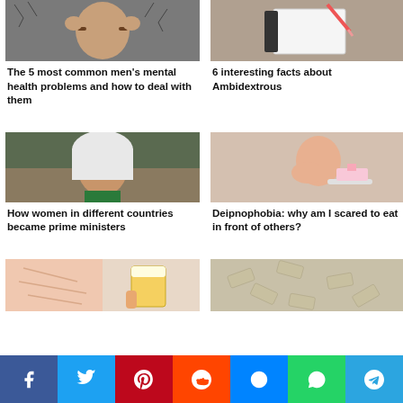[Figure (photo): Man with hands on temples, stressed expression, dark cracked background]
The 5 most common men's mental health problems and how to deal with them
[Figure (photo): Person writing on notepad with pen]
6 interesting facts about Ambidextrous
[Figure (photo): Woman in white hijab with crowd in background]
How women in different countries became prime ministers
[Figure (photo): Young woman looking surprised, holding a slice of cake]
Deipnophobia: why am I scared to eat in front of others?
[Figure (photo): Skin with stretch marks and hand holding beer glass]
[Figure (photo): Scattered dollar bills flying in the air]